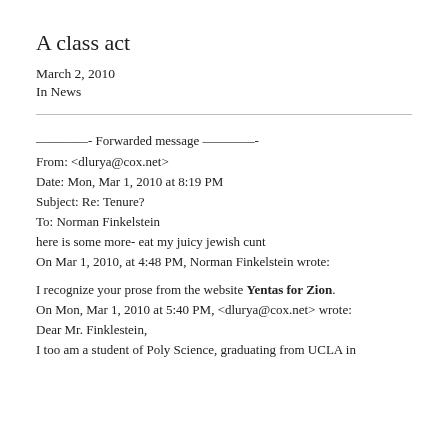A class act
March 2, 2010
In News
————- Forwarded message ————-
From: <dlurya@cox.net>
Date: Mon, Mar 1, 2010 at 8:19 PM
Subject: Re: Tenure?
To: Norman Finkelstein
here is some more- eat my juicy jewish cunt
On Mar 1, 2010, at 4:48 PM, Norman Finkelstein wrote:
I recognize your prose from the website Yentas for Zion.
On Mon, Mar 1, 2010 at 5:40 PM, <dlurya@cox.net> wrote:
Dear Mr. Finklestein,
I too am a student of Poly Science, graduating from UCLA in